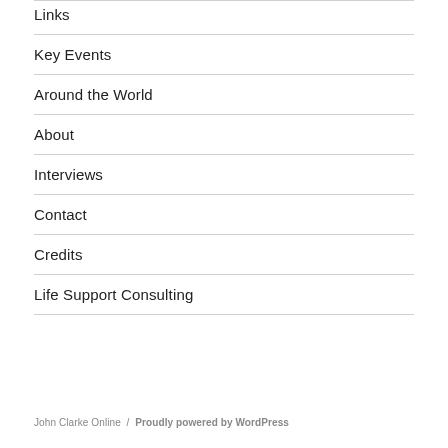Links
Key Events
Around the World
About
Interviews
Contact
Credits
Life Support Consulting
John Clarke Online  /  Proudly powered by WordPress